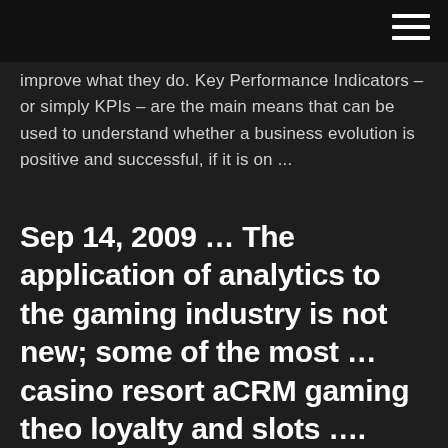hamburger menu icon
improve what they do. Key Performance Indicators – or simply KPIs – are the main means that can be used to understand whether a business evolution is positive and successful, if it is on ...
Sep 14, 2009 … The application of analytics to the gaming industry is not new; some of the most … casino resort aCRM gaming theo loyalty and slots …. There are a number of industry specific key performance indicators (KPIs) that … In the